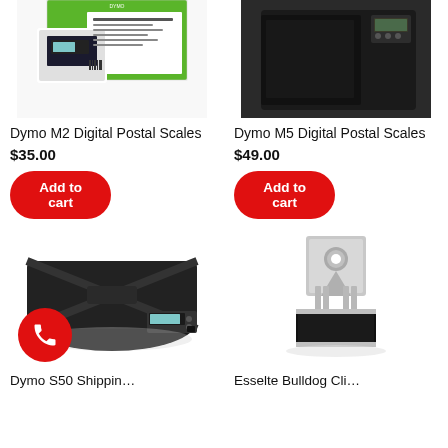[Figure (photo): Dymo M2 Digital Postal Scales product box photo]
[Figure (photo): Dymo M5 Digital Postal Scales device on dark background]
Dymo M2 Digital Postal Scales
$35.00
Add to cart
Dymo M5 Digital Postal Scales
$49.00
Add to cart
[Figure (photo): Dymo S50 Shipping scale, large black platform scale]
[Figure (photo): Esselte Bulldog Clip, large metal binder clip]
Dymo S50 Shippin…
Esselte Bulldog Cli…